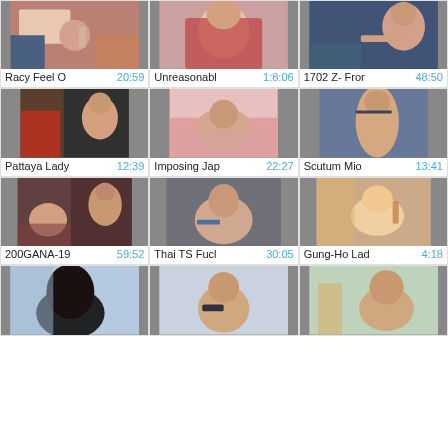[Figure (photo): Video thumbnail grid showing adult video thumbnails with titles and durations]
Racy Feel O  20:59
Unreasonabl  1:8:06
1702 Z- Fror  48:50
Pattaya Lady  12:39
Imposing Jap  22:27
Scutum Mio  13:41
200GANA-19  59:52
Thai TS Fucl  30:05
Gung-Ho Lad  4:18